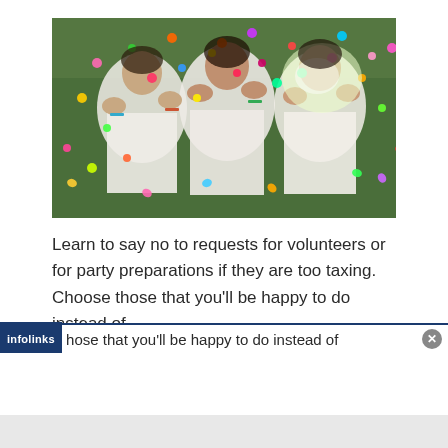[Figure (photo): Three women in white clothes blowing colorful confetti toward the camera, with green trees in the background.]
Learn to say no to requests for volunteers or for party preparations if they are too taxing. Choose those that you'll be happy to do instead of